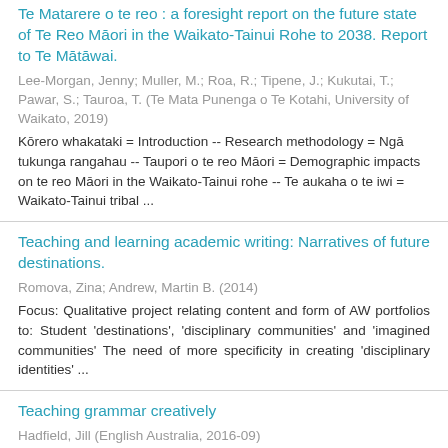Te Matarere o te reo : a foresight report on the future state of Te Reo Māori in the Waikato-Tainui Rohe to 2038. Report to Te Mātāwai.
Lee-Morgan, Jenny; Muller, M.; Roa, R.; Tipene, J.; Kukutai, T.; Pawar, S.; Tauroa, T. (Te Mata Punenga o Te Kotahi, University of Waikato, 2019)
Kōrero whakataki = Introduction -- Research methodology = Ngā tukunga rangahau -- Taupori o te reo Māori = Demographic impacts on te reo Māori in the Waikato-Tainui rohe -- Te aukaha o te iwi = Waikato-Tainui tribal ...
Teaching and learning academic writing: Narratives of future destinations.
Romova, Zina; Andrew, Martin B. (2014)
Focus: Qualitative project relating content and form of AW portfolios to: Student 'destinations', 'disciplinary communities' and 'imagined communities' The need of more specificity in creating 'disciplinary identities' ...
Teaching grammar creatively
Hadfield, Jill (English Australia, 2016-09)
Creativity - what? why? how? Why encourage creativity in grammar teaching? Three ways we can help